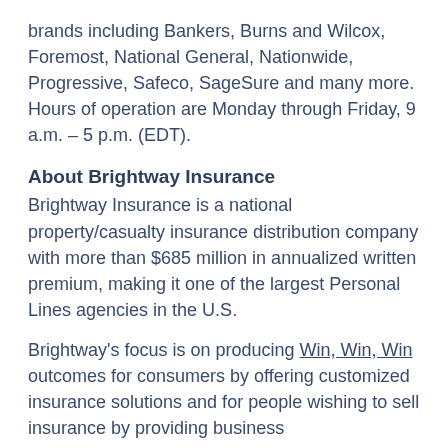brands including Bankers, Burns and Wilcox, Foremost, National General, Nationwide, Progressive, Safeco, SageSure and many more. Hours of operation are Monday through Friday, 9 a.m. – 5 p.m. (EDT).
About Brightway Insurance
Brightway Insurance is a national property/casualty insurance distribution company with more than $685 million in annualized written premium, making it one of the largest Personal Lines agencies in the U.S.
Brightway's focus is on producing Win, Win, Win outcomes for consumers by offering customized insurance solutions and for people wishing to sell insurance by providing business